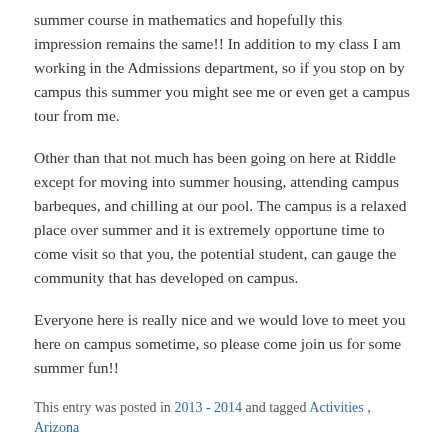summer course in mathematics and hopefully this impression remains the same!! In addition to my class I am working in the Admissions department, so if you stop on by campus this summer you might see me or even get a campus tour from me.
Other than that not much has been going on here at Riddle except for moving into summer housing, attending campus barbeques, and chilling at our pool. The campus is a relaxed place over summer and it is extremely opportune time to come visit so that you, the potential student, can gauge the community that has developed on campus.
Everyone here is really nice and we would love to meet you here on campus sometime, so please come join us for some summer fun!!
This entry was posted in 2013 - 2014 and tagged Activities , Arizona